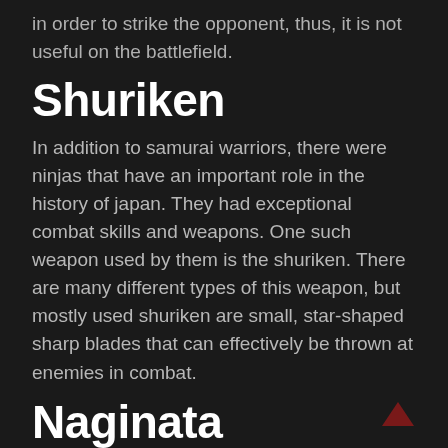in order to strike the opponent, thus, it is not useful on the battlefield.
Shuriken
In addition to samurai warriors, there were ninjas that have an important role in the history of japan. They had exceptional combat skills and weapons. One such weapon used by them is the shuriken. There are many different types of this weapon, but mostly used shuriken are small, star-shaped sharp blades that can effectively be thrown at enemies in combat.
Naginata
This has a long wooden cane with a sharp and curved blade attached to the top. The blade is